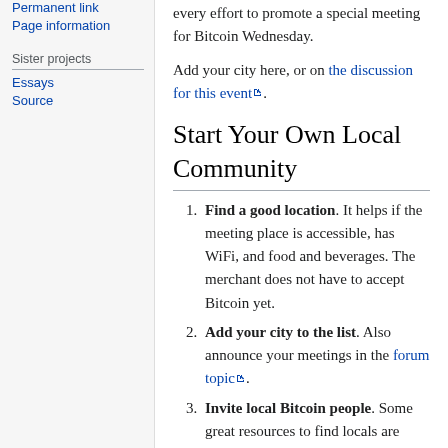Permanent link
Page information
Sister projects
Essays
Source
every effort to promote a special meeting for Bitcoin Wednesday.
Add your city here, or on the discussion for this event.
Start Your Own Local Community
Find a good location. It helps if the meeting place is accessible, has WiFi, and food and beverages. The merchant does not have to accept Bitcoin yet.
Add your city to the list. Also announce your meetings in the forum topic.
Invite local Bitcoin people. Some great resources to find locals are Meetup.com, and LocalBitcoins.com. You may